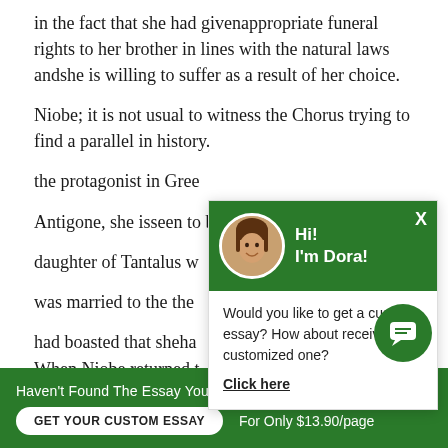in the fact that she had givenappropriate funeral rights to her brother in lines with the natural laws andshe is willing to suffer as a result of her choice.
Niobe; it is not usual to witness the Chorus trying to find a parallel in history. As the protagonist in Greek Antigone, she isseen to be…daughter of Tantalus w… was married to the the… had boasted that sheha… goddess Leto at which t… Artemis killed all of her…
[Figure (screenshot): Chat popup with green header showing avatar of a woman named Dora with text 'Hi! I'm Dora!' and body text 'Would you like to get a custom essay? How about receiving a customized one?' with a 'Click here' link. Green X close button top right.]
When Niobe returned t… turned to stone on mount Sipylus. The rock ra…er
Haven't Found The Essay You Want? GET YOUR CUSTOM ESSAY For Only $13.90/page